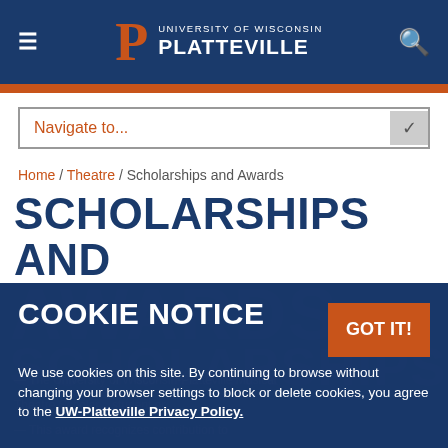University of Wisconsin Platteville
Navigate to...
Home / Theatre / Scholarships and Awards
SCHOLARSHIPS AND AWARDS
COOKIE NOTICE
We use cookies on this site. By continuing to browse without changing your browser settings to block or delete cookies, you agree to the UW-Platteville Privacy Policy.